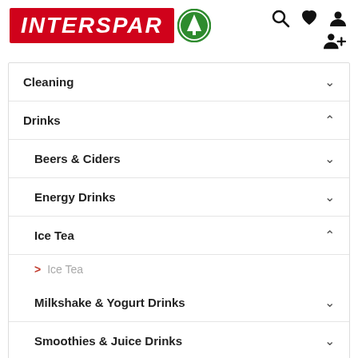[Figure (logo): INTERSPAR logo with red background and green SPAR tree circle icon]
Cleaning
Drinks
Beers & Ciders
Energy Drinks
Ice Tea
Ice Tea
Milkshake & Yogurt Drinks
Smoothies & Juice Drinks
Soft Drinks & Mixers